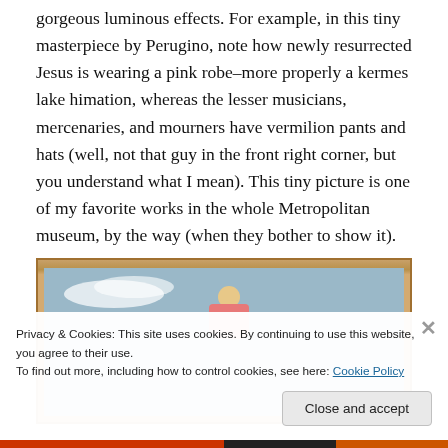gorgeous luminous effects. For example, in this tiny masterpiece by Perugino, note how newly resurrected Jesus is wearing a pink robe–more properly a kermes lake himation, whereas the lesser musicians, mercenaries, and mourners have vermilion pants and hats (well, not that guy in the front right corner, but you understand what I mean). This tiny picture is one of my favorite works in the whole Metropolitan museum, by the way (when they bother to show it).
[Figure (photo): A framed Renaissance painting showing a figure in a pink/red robe against a blue sky with clouds, partially obscured by a cookie consent banner overlay.]
Privacy & Cookies: This site uses cookies. By continuing to use this website, you agree to their use.
To find out more, including how to control cookies, see here: Cookie Policy
Close and accept